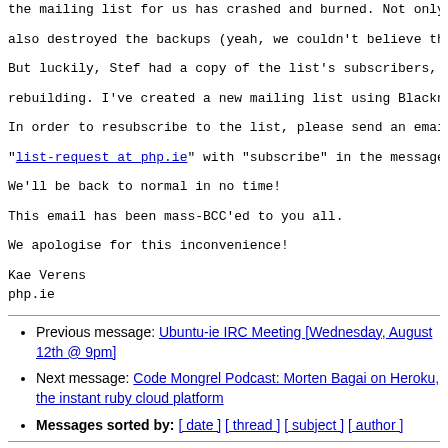As some of you may be aware, the hosting provider that the mailing list for us has crashed and burned. Not only also destroyed the backups (yeah, we couldn't believe tha
But luckily, Stef had a copy of the list's subscribers, s rebuilding. I've created a new mailing list using Blackni
In order to resubscribe to the list, please send an email "list-request at php.ie" with "subscribe" in the message
We'll be back to normal in no time!
This email has been mass-BCC'ed to you all.
We apologise for this inconvenience!
Kae Verens
php.ie
Previous message: Ubuntu-ie IRC Meeting [Wednesday, August 12th @ 9pm]
Next message: Code Mongrel Podcast: Morten Bagai on Heroku, the instant ruby cloud platform
Messages sorted by: [ date ] [ thread ] [ subject ] [ author ]
More information about the Ubuntu-ie mailing list